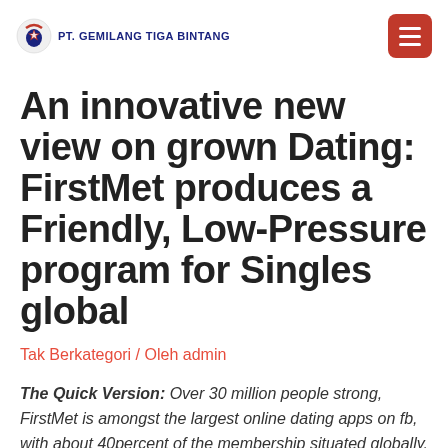PT. GEMILANG TIGA BINTANG
An innovative new view on grown Dating: FirstMet produces a Friendly, Low-Pressure program for Singles global
Tak Berkategori / Oleh admin
The Quick Version: Over 30 million people strong, FirstMet is amongst the largest online dating apps on fb, with about 40percent of the membership situated globally. Hoping to much better serve this range of